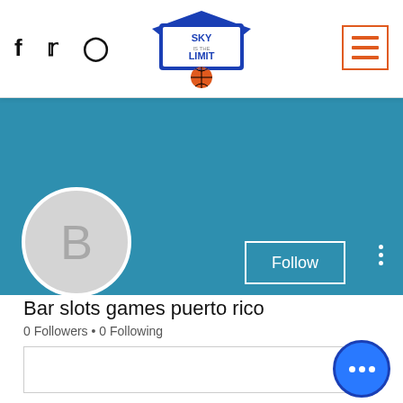[Figure (logo): Sky is the Limit Basketball logo with wings, shield shape, and basketball]
[Figure (screenshot): Social media profile page for 'Bar slots games puerto rico' with blue banner, avatar with letter B, Follow button, 0 Followers, 0 Following, Profile section, Join date: May 18, 2022]
Bar slots games puerto rico
0 Followers • 0 Following
Profile
Join date: May 18, 2022